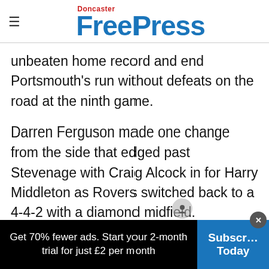Doncaster Free Press
unbeaten home record and end Portsmouth's run without defeats on the road at the ninth game.
Darren Ferguson made one change from the side that edged past Stevenage with Craig Alcock in for Harry Middleton as Rovers switched back to a 4-4-2 with a diamond midfield.
Get 70% fewer ads. Start your 2-month trial for just £2 per month | Subscribe Today